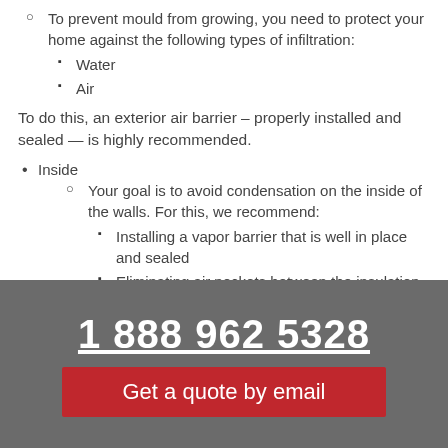To prevent mould from growing, you need to protect your home against the following types of infiltration:
Water
Air
To do this, an exterior air barrier – properly installed and sealed — is highly recommended.
Inside
Your goal is to avoid condensation on the inside of the walls. For this, we recommend:
Installing a vapor barrier that is well in place and sealed
Eliminating air pockets between the insulation and the foundation
1 888 962 5328
Get a quote by email